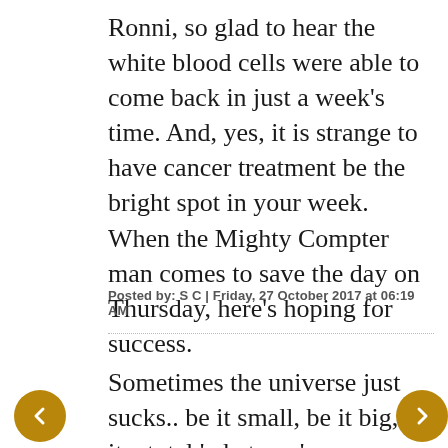Ronni, so glad to hear the white blood cells were able to come back in just a week's time. And, yes, it is strange to have cancer treatment be the bright spot in your week. When the Mighty Compter man comes to save the day on Thursday, here's hoping for success.
Posted by: S C | Friday, 27 October 2017 at 06:19 AM
Sometimes the universe just sucks.. be it small, be it big, be it a total 'whatever' across any other week in